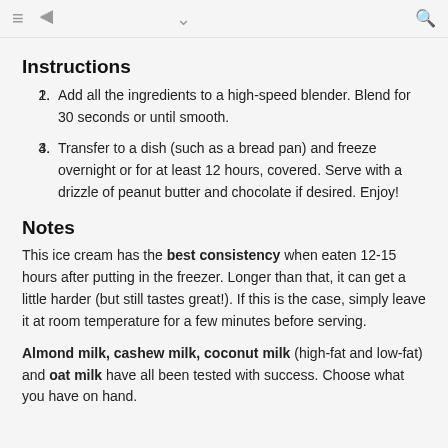≡  ◁  ∨  🔍
Instructions
Add all the ingredients to a high-speed blender. Blend for 30 seconds or until smooth.
Transfer to a dish (such as a bread pan) and freeze overnight or for at least 12 hours, covered. Serve with a drizzle of peanut butter and chocolate if desired. Enjoy!
Notes
This ice cream has the best consistency when eaten 12-15 hours after putting in the freezer. Longer than that, it can get a little harder (but still tastes great!). If this is the case, simply leave it at room temperature for a few minutes before serving.
Almond milk, cashew milk, coconut milk (high-fat and low-fat) and oat milk have all been tested with success. Choose what you have on hand.